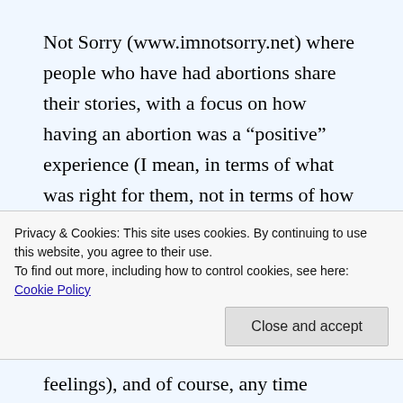Not Sorry (www.imnotsorry.net) where people who have had abortions share their stories, with a focus on how having an abortion was a “positive” experience (I mean, in terms of what was right for them, not in terms of how much fun it was, obvs). Having said that, I’ve found that many of the stories express conflicted feelings similar to St Roonicorn and EponaEF above, although others are much more “no big deal” about it. It’s a
Privacy & Cookies: This site uses cookies. By continuing to use this website, you agree to their use.
To find out more, including how to control cookies, see here: Cookie Policy
feelings), and of course, any time